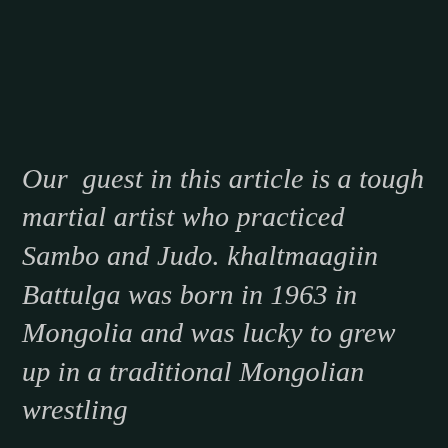Our  guest in this article is a tough martial artist who practiced Sambo and Judo. khaltmaagiin Battulga was born in 1963 in Mongolia and was lucky to grew up in a traditional Mongolian wrestling